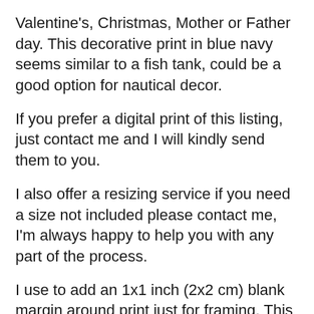Valentine's, Christmas, Mother or Father day. This decorative print in blue navy seems similar to a fish tank, could be a good option for nautical decor.
If you prefer a digital print of this listing, just contact me and I will kindly send them to you.
I also offer a resizing service if you need a size not included please contact me, I'm always happy to help you with any part of the process.
I use to add an 1x1 inch (2x2 cm) blank margin around print just for framing. This is optional, so if you need the blank margin at personalization say yes, if not say no to blank margin.
IMPORTANT INFORMATION - This print has been proven printing in big sizes and has an excellent